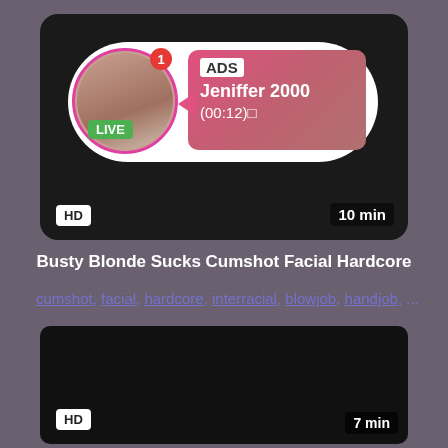[Figure (screenshot): Ad card showing a live profile with pink gradient box. Profile photo in circle with LIVE badge. Shows 'ADS Jeniffer 2000 (00:12)'. HD badge bottom left, '10 min' bottom right.]
Busty Blonde Sucks Cumshot Facial Hardcore
cumshot, facial, hardcore, interracial, blowjob, handjob, ...
[Figure (screenshot): Dark video thumbnail placeholder. HD badge bottom left, '7 min' bottom right.]